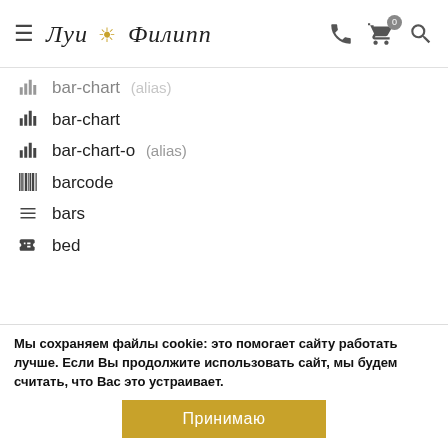Луи Филипп — header with hamburger menu, logo, phone, cart (0), search
bar-chart (alias)
bar-chart
bar-chart-o (alias)
barcode
bars
bed
beer
bell
bell-o
bell-slash
bell-slash-o
bicycle
binoculars
birthday-cake
Мы сохраняем файлы cookie: это помогает сайту работать лучше. Если Вы продолжите использовать сайт, мы будем считать, что Вас это устраивает.
Принимаю